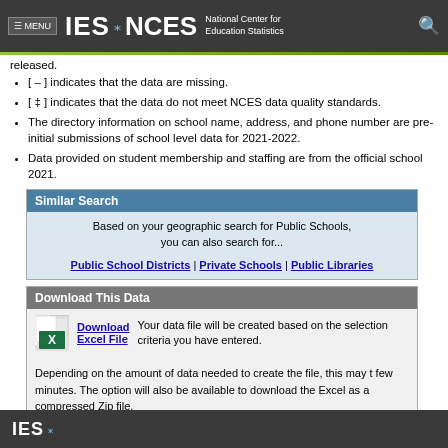≡ MENU  IES  NCES  National Center for Education Statistics
released.
[ – ] indicates that the data are missing.
[ ‡ ] indicates that the data do not meet NCES data quality standards.
The directory information on school name, address, and phone number are pre- initial submissions of school level data for 2021-2022.
Data provided on student membership and staffing are from the official school 2021.
Similar Search
Based on your geographic search for Public Schools, you can also search for...
Public School Districts | Private Schools | Public Libraries
Download This Data
Download Excel File  Your data file will be created based on the selection criteria you have entered.
Depending on the amount of data needed to create the file, this may take a few minutes. The option will also be available to download the Excel file as a compressed Zip file.
IES